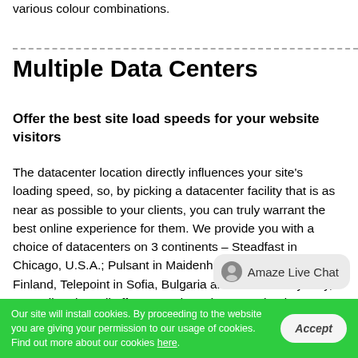various colour combinations.
Multiple Data Centers
Offer the best site load speeds for your website visitors
The datacenter location directly influences your site's loading speed, so, by picking a datacenter facility that is as near as possible to your clients, you can truly warrant the best online experience for them. We provide you with a choice of datacenters on 3 continents – Steadfast in Chicago, U.S.A.; Pulsant in Maidenhead, UK, Ficolo in Pori, Finland, Telepoint in Sofia, Bulgaria and Amaze in Sydney, Australia. They all offer a steady and secure cloud
Our site will install cookies. By proceeding to the website you are giving your permission to our usage of cookies. Find out more about our cookies here.